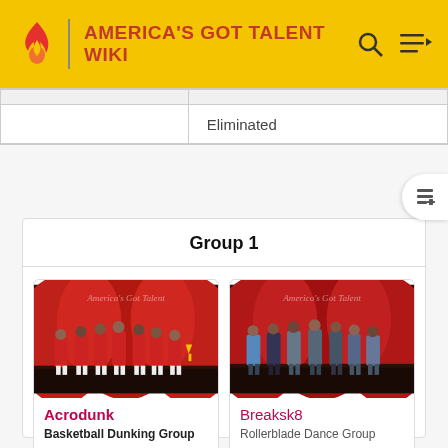AMERICA'S GOT TALENT WIKI
|  |  |
|  | Eliminated |
Group 1
[Figure (photo): Group photo of Acrodunk basketball dunking team on stage in red uniforms]
Acrodunk
Basketball Dunking Group
[Figure (photo): Group photo of Breaksk8 rollerblade dance group on stage]
Breaksk8
Rollerblade Dance Group